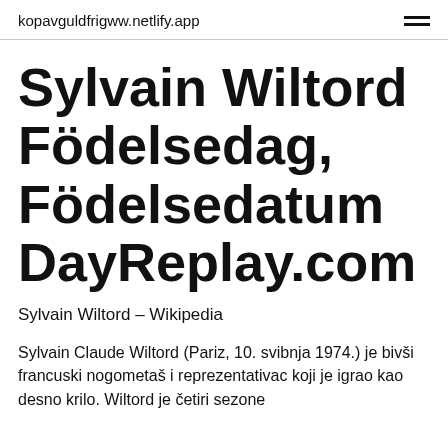kopavguldfrigww.netlify.app
Sylvain Wiltord Födelsedag, Födelsedatum DayReplay.com
Sylvain Wiltord – Wikipedia
Sylvain Claude Wiltord (Pariz, 10. svibnja 1974.) je bivši francuski nogometaš i reprezentativac koji je igrao kao desno krilo. Wiltord je četiri sezone